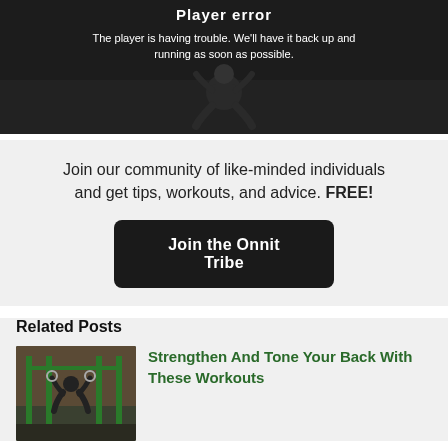[Figure (screenshot): Video player error screen with dark background showing person doing workout in background. Text overlay reads 'Player error' and error message.]
Player error
The player is having trouble. We'll have it back up and running as soon as possible.
Join our community of like-minded individuals and get tips, workouts, and advice. FREE!
Join the Onnit Tribe
Related Posts
[Figure (photo): Photo of person doing gymnastic ring exercises in a gym with green equipment]
Strengthen And Tone Your Back With These Workouts